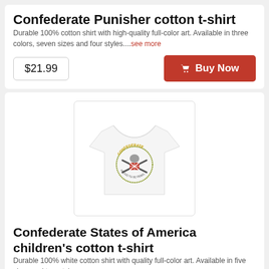Confederate Punisher cotton t-shirt
Durable 100% cotton shirt with high-quality full-color art. Available in three colors, seven sizes and four styles....see more
$21.99
Buy Now
[Figure (photo): White t-shirt with Confederate States of America children's design featuring crossed rifles and Confederate flag emblem with circular text]
Confederate States of America children's cotton t-shirt
Durable 100% white cotton shirt with quality full-color art. Available in five sizes and two styles....see more